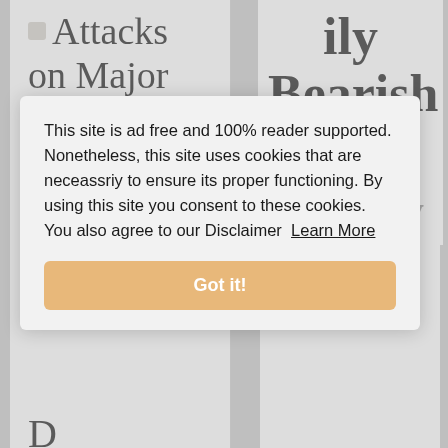Attacks on Major Iraqi Gasfield
ily Bearish for Energy
This site is ad free and 100% reader supported. Nonetheless, this site uses cookies that are neceassriy to ensure its proper functioning. By using this site you consent to these cookies. You also agree to our Disclaimer  Learn More
Got it!
D